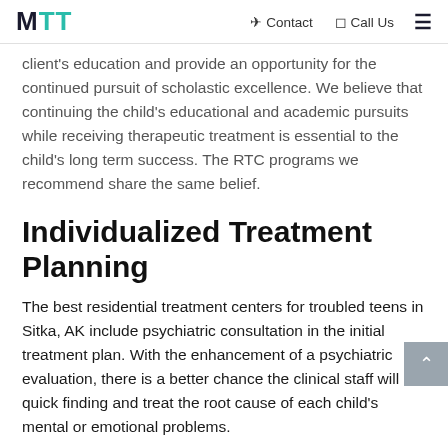MTT   Contact   Call Us
client's education and provide an opportunity for the continued pursuit of scholastic excellence. We believe that continuing the child's educational and academic pursuits while receiving therapeutic treatment is essential to the child's long term success. The RTC programs we recommend share the same belief.
Individualized Treatment Planning
The best residential treatment centers for troubled teens in Sitka, AK include psychiatric consultation in the initial treatment plan. With the enhancement of a psychiatric evaluation, there is a better chance the clinical staff will quick finding and treat the root cause of each child's mental or emotional problems.